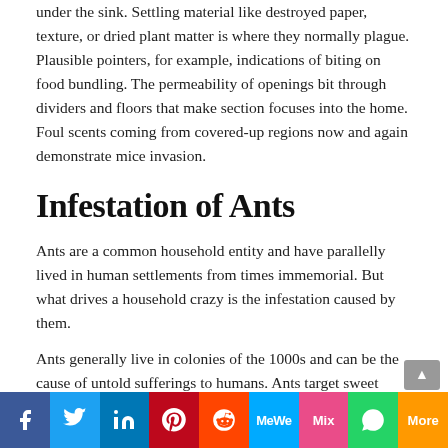under the sink. Settling material like destroyed paper, texture, or dried plant matter is where they normally plague. Plausible pointers, for example, indications of biting on food bundling. The permeability of openings bit through dividers and floors that make section focuses into the home. Foul scents coming from covered-up regions now and again demonstrate mice invasion.
Infestation of Ants
Ants are a common household entity and have parallelly lived in human settlements from times immemorial. But what drives a household crazy is the infestation caused by them.
Ants generally live in colonies of the 1000s and can be the cause of untold sufferings to humans. Ants target sweet items in a household for their food be it sugar or sweetmeat kept in the kitchen, ants show no mercy in destroying it and makes it unfit for consumption.